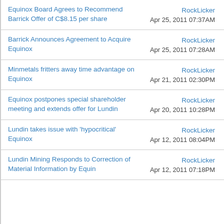Equinox Board Agrees to Recommend Barrick Offer of C$8.15 per share | RockLicker | Apr 25, 2011 07:37AM
Barrick Announces Agreement to Acquire Equinox | RockLicker | Apr 25, 2011 07:28AM
Minmetals fritters away time advantage on Equinox | RockLicker | Apr 21, 2011 02:30PM
Equinox postpones special shareholder meeting and extends offer for Lundin | RockLicker | Apr 20, 2011 10:28PM
Lundin takes issue with 'hypocritical' Equinox | RockLicker | Apr 12, 2011 08:04PM
Lundin Mining Responds to Correction of Material Information by Equin | RockLicker | Apr 12, 2011 07:18PM